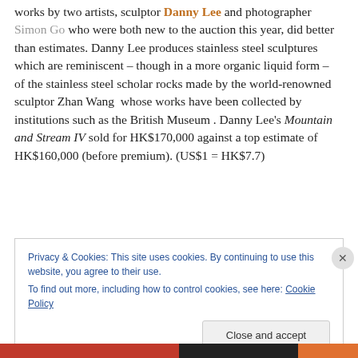works by two artists, sculptor Danny Lee and photographer Simon Go who were both new to the auction this year, did better than estimates. Danny Lee produces stainless steel sculptures which are reminiscent – though in a more organic liquid form – of the stainless steel scholar rocks made by the world-renowned sculptor Zhan Wang whose works have been collected by institutions such as the British Museum . Danny Lee's Mountain and Stream IV sold for HK$170,000 against a top estimate of HK$160,000 (before premium). (US$1 = HK$7.7)
Privacy & Cookies: This site uses cookies. By continuing to use this website, you agree to their use.
To find out more, including how to control cookies, see here: Cookie Policy